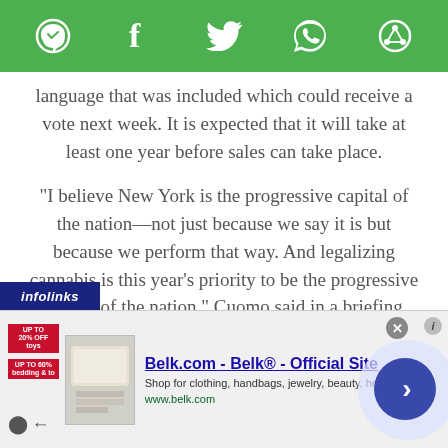[Figure (screenshot): Green social sharing toolbar with icons for Messenger, Facebook, Twitter, WhatsApp, and a share/refresh icon]
language that was included which could receive a vote next week. It is expected that it will take at least one year before sales can take place.
“I believe New York is the progressive capital of the nation—not just because we say it is but because we perform that way. And legalizing cannabis is this year’s priority to be the progressive capital of the nation,” Cuomo said in a briefing with reporters on Wednesday. “We won’t be the
[Figure (screenshot): Infolinks advertisement label and a Belk.com display ad showing bedding products with text: Belk.com - Belk® - Official Site, Shop for clothing, handbags, jewelry, beauty, home & more!, www.belk.com]